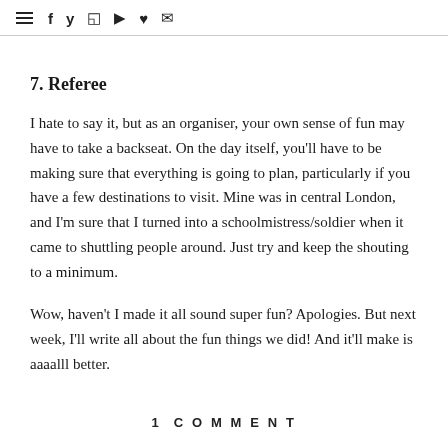≡ f 𝐲 ⊡ ▶ ♥ ✉
7. Referee
I hate to say it, but as an organiser, your own sense of fun may have to take a backseat. On the day itself, you'll have to be making sure that everything is going to plan, particularly if you have a few destinations to visit. Mine was in central London, and I'm sure that I turned into a schoolmistress/soldier when it came to shuttling people around. Just try and keep the shouting to a minimum.
Wow, haven't I made it all sound super fun? Apologies. But next week, I'll write all about the fun things we did! And it'll make is aaaalll better.
1 COMMENT